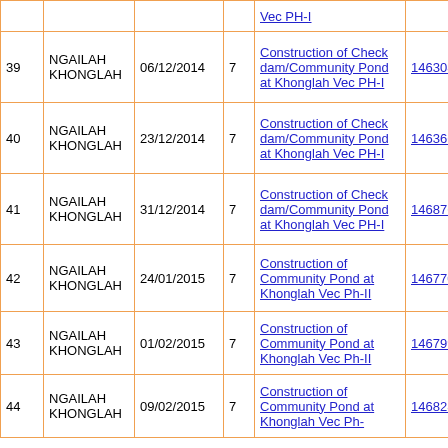|  | Name | Date | 7 | Description | Code | 1071 | 0 |
| --- | --- | --- | --- | --- | --- | --- | --- |
|  |  |  |  | Vec PH-I |  |  |  |
| 39 | NGAILAH KHONGLAH | 06/12/2014 | 7 | Construction of Check dam/Community Pond at Khonglah Vec PH-I | 146308 | 1071 | 0 |
| 40 | NGAILAH KHONGLAH | 23/12/2014 | 7 | Construction of Check dam/Community Pond at Khonglah Vec PH-I | 146366 | 1071 | 0 |
| 41 | NGAILAH KHONGLAH | 31/12/2014 | 7 | Construction of Check dam/Community Pond at Khonglah Vec PH-I | 146876 | 1071 | 0 |
| 42 | NGAILAH KHONGLAH | 24/01/2015 | 7 | Construction of Community Pond at Khonglah Vec Ph-II | 146770 | 1071 | 0 |
| 43 | NGAILAH KHONGLAH | 01/02/2015 | 7 | Construction of Community Pond at Khonglah Vec Ph-II | 146799 | 1071 | 0 |
| 44 | NGAILAH KHONGLAH | 09/02/2015 | 7 | Construction of Community Pond at Khonglah Vec Ph- | 146828 | 1071 | 0 |